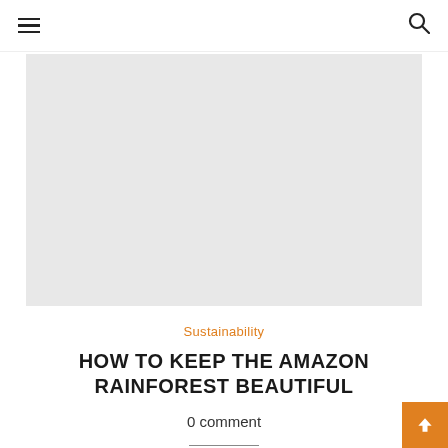≡  🔍
[Figure (photo): Large rectangular placeholder image in light gray, likely a hero/feature image for the article about the Amazon Rainforest.]
Sustainability
HOW TO KEEP THE AMAZON RAINFOREST BEAUTIFUL
0 comment
Content of this article has been written by...